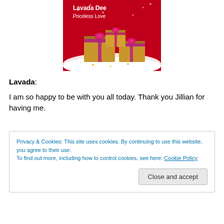[Figure (illustration): Book cover for 'Priceless Love' by Lavada Dee — red background with gold gift boxes wrapped in red ribbons on white snow, with text 'Lavada Dee' and 'Priceless Love' in white at the top.]
Lavada:
I am so happy to be with you all today.  Thank you Jillian for having me.
Privacy & Cookies: This site uses cookies. By continuing to use this website, you agree to their use.
To find out more, including how to control cookies, see here: Cookie Policy
Close and accept